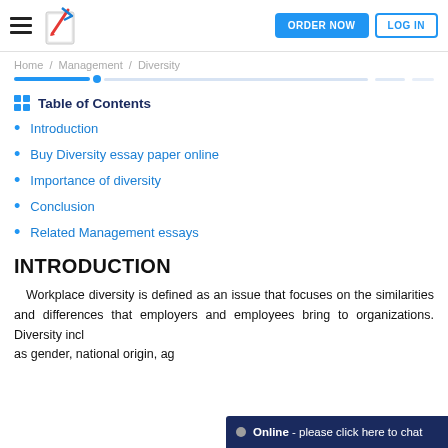ORDER NOW | LOG IN
Home / Management / Diversity
Table of Contents
Introduction
Buy Diversity essay paper online
Importance of diversity
Conclusion
Related Management essays
INTRODUCTION
Workplace diversity is defined as an issue that focuses on the similarities and differences that employers and employees bring to organizations. Diversity incl